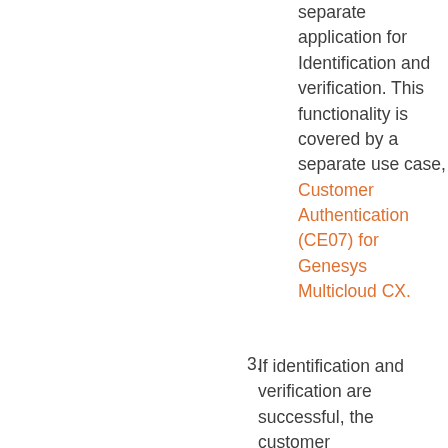separate application for Identification and verification. This functionality is covered by a separate use case, Customer Authentication (CE07) for Genesys Multicloud CX.
3. If identification and verification are successful, the customer